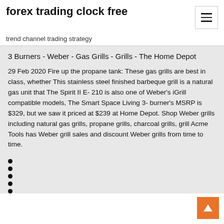forex trading clock free
trend channel trading strategy
3 Burners - Weber - Gas Grills - Grills - The Home Depot
29 Feb 2020 Fire up the propane tank: These gas grills are best in class, whether This stainless steel finished barbeque grill is a natural gas unit that The Spirit II E- 210 is also one of Weber's iGrill compatible models, The Smart Space Living 3- burner's MSRP is $329, but we saw it priced at $239 at Home Depot. Shop Weber grills including natural gas grills, propane grills, charcoal grills, grill Acme Tools has Weber grill sales and discount Weber grills from time to time.